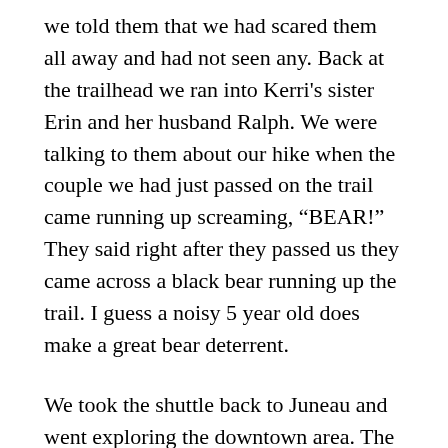we told them that we had scared them all away and had not seen any. Back at the trailhead we ran into Kerri's sister Erin and her husband Ralph. We were talking to them about our hike when the couple we had just passed on the trail came running up screaming, “BEAR!” They said right after they passed us they came across a black bear running up the trail. I guess a noisy 5 year old does make a great bear deterrent.
We took the shuttle back to Juneau and went exploring the downtown area. The shops were your standard tourist shops, nothing we couldn’t live without. We soon came to Alaska’s seat of government, the capital building. Not what we were expecting. It looked like a standard old office building. The other government buildings were also a bit different, including a very pink assembly